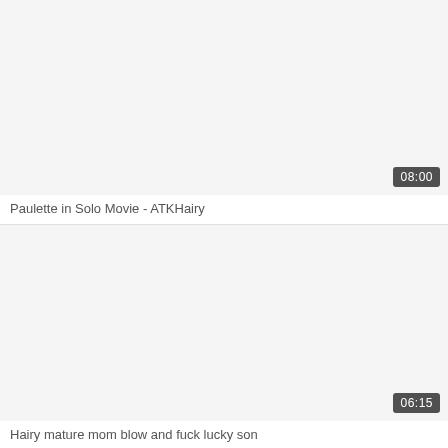[Figure (screenshot): Video thumbnail placeholder, light gray background with duration badge showing 08:00]
Paulette in Solo Movie - ATKHairy
[Figure (screenshot): Video thumbnail placeholder, light gray background with duration badge showing 06:15]
Hairy mature mom blow and fuck lucky son